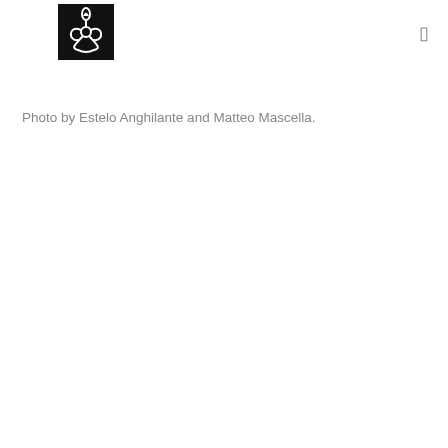[Figure (logo): Black square logo with a white biohazard-style symbol featuring a flame/drop at the top and curved horns at the bottom]
☰
Photo by Estelo Anghilante and Matteo Mascella.